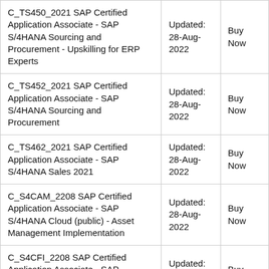| Exam Name | Updated | Action |
| --- | --- | --- |
| C_TS450_2021 SAP Certified Application Associate - SAP S/4HANA Sourcing and Procurement - Upskilling for ERP Experts | Updated: 28-Aug-2022 | Buy Now |
| C_TS452_2021 SAP Certified Application Associate - SAP S/4HANA Sourcing and Procurement | Updated: 28-Aug-2022 | Buy Now |
| C_TS462_2021 SAP Certified Application Associate - SAP S/4HANA Sales 2021 | Updated: 28-Aug-2022 | Buy Now |
| C_S4CAM_2208 SAP Certified Application Associate - SAP S/4HANA Cloud (public) - Asset Management Implementation | Updated: 28-Aug-2022 | Buy Now |
| C_S4CFI_2208 SAP Certified Application Associate - SAP S/4HANA Cloud (public) - Finance Implementation | Updated: 28-Aug-2022 | Buy Now |
| C_S4CMA_2208 SAP Certified Application Associate - ... | Updated: ... | ... |